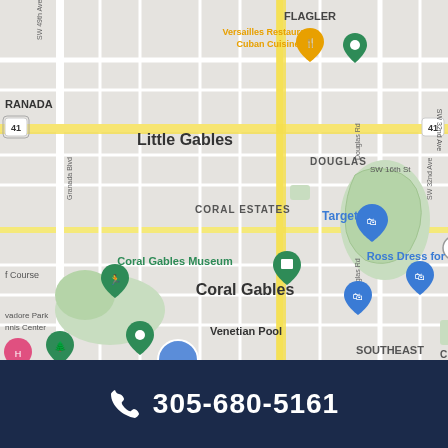[Figure (map): Google Maps screenshot showing Little Gables and Coral Gables area in Miami, FL. Visible landmarks include Versailles Restaurant Cuban Cuisine, Target, Coral Gables Museum, Ross Dress for Less, Venetian Pool, Salvadore Park Tennis Center. Roads include SW 49th Ave, Granada Blvd, Douglas Rd, SW 32nd Ave, SW 16th St. Route markers: US 41, route 972.]
305-680-5161